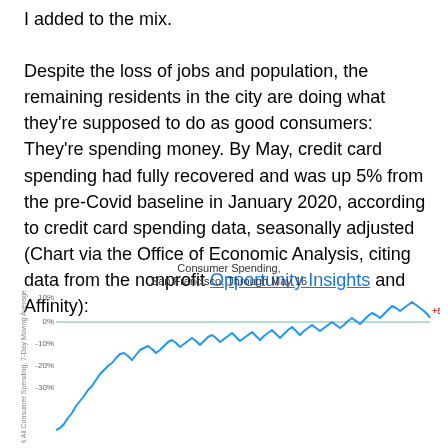I added to the mix.

Despite the loss of jobs and population, the remaining residents in the city are doing what they're supposed to do as good consumers: They're spending money. By May, credit card spending had fully recovered and was up 5% from the pre-Covid baseline in January 2020, according to credit card spending data, seasonally adjusted (Chart via the Office of Economic Analysis, citing data from the nonprofit Opportunity Insights and Affinity):
[Figure (continuous-plot): Line chart showing consumer spending in San Francisco through May 16. The line starts around -40% to -50% at the far left (early in the pandemic), rises steeply, then fluctuates around -10% to -20% range for an extended period, before recovering further and ending at +5% above the pre-Covid January 2020 baseline. A horizontal green reference line marks the 0% baseline. The +5% endpoint is labeled in red.]